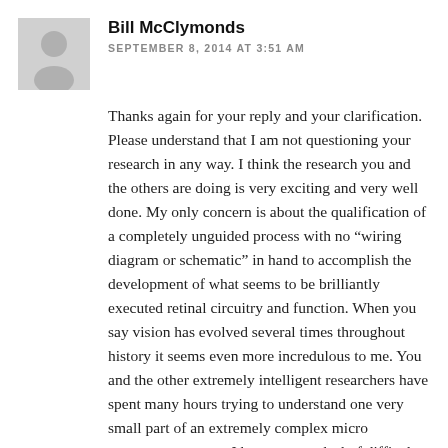[Figure (illustration): Gray placeholder avatar icon showing a silhouette of a person (head and shoulders) on a light gray square background]
Bill McClymonds
SEPTEMBER 8, 2014 AT 3:51 AM
Thanks again for your reply and your clarification. Please understand that I am not questioning your research in any way. I think the research you and the others are doing is very exciting and very well done. My only concern is about the qualification of a completely unguided process with no “wiring diagram or schematic” in hand to accomplish the development of what seems to be brilliantly executed retinal circuitry and function. When you say vision has evolved several times throughout history it seems even more incredulous to me. You and the other extremely intelligent researchers have spent many hours trying to understand one very small part of an extremely complex micro component system. I have a great deal of difficulty